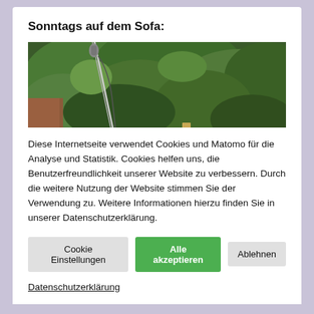Sonntags auf dem Sofa:
[Figure (photo): Outdoor photo showing a microphone stand and a wooden cross in front of green foliage/trees]
Diese Internetseite verwendet Cookies und Matomo für die Analyse und Statistik. Cookies helfen uns, die Benutzerfreundlichkeit unserer Website zu verbessern. Durch die weitere Nutzung der Website stimmen Sie der Verwendung zu. Weitere Informationen hierzu finden Sie in unserer Datenschutzerklärung.
Cookie Einstellungen | Alle akzeptieren | Ablehnen
Datenschutzerklärung